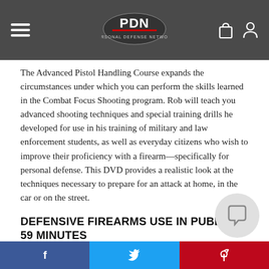PDN Personal Defense Network
The Advanced Pistol Handling Course expands the circumstances under which you can perform the skills learned in the Combat Focus Shooting program. Rob will teach you advanced shooting techniques and special training drills he developed for use in his training of military and law enforcement students, as well as everyday citizens who wish to improve their proficiency with a firearm—specifically for personal defense. This DVD provides a realistic look at the techniques necessary to prepare for an attack at home, in the car or on the street.
DEFENSIVE FIREARMS USE IN PUBLIC – 59 MINUTES
There are many distractions and variables taken granted every day; these variables influence your ability to